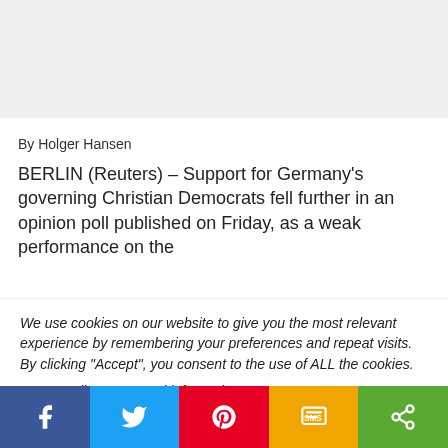[Figure (other): Gray advertisement placeholder banner]
By Holger Hansen
BERLIN (Reuters) – Support for Germany's governing Christian Democrats fell further in an opinion poll published on Friday, as a weak performance on the
We use cookies on our website to give you the most relevant experience by remembering your preferences and repeat visits. By clicking "Accept", you consent to the use of ALL the cookies. Do not sell my personal information.
[Figure (other): Social share bar with Facebook, Twitter, Pinterest, SMS, and share buttons]